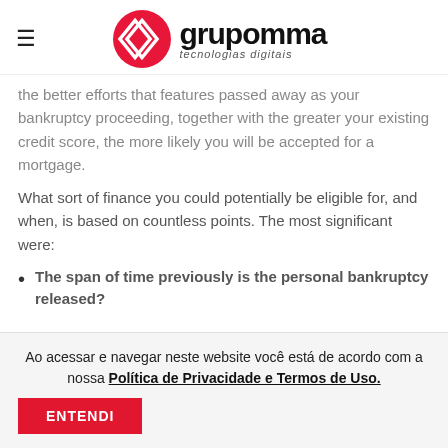grupomma tecnologias digitais
the better efforts that features passed away as your bankruptcy proceeding, together with the greater your existing credit score, the more likely you will be accepted for a mortgage.
What sort of finance you could potentially be eligible for, and when, is based on countless points. The most significant were:
The span of time previously is the personal bankruptcy released?
Ao acessar e navegar neste website você está de acordo com a nossa Política de Privacidade e Termos de Uso.
ENTENDI